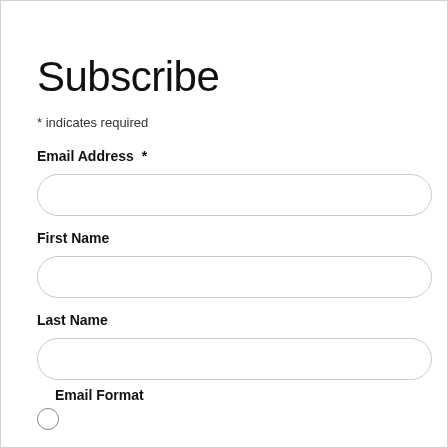Subscribe
* indicates required
Email Address *
First Name
Last Name
Email Format